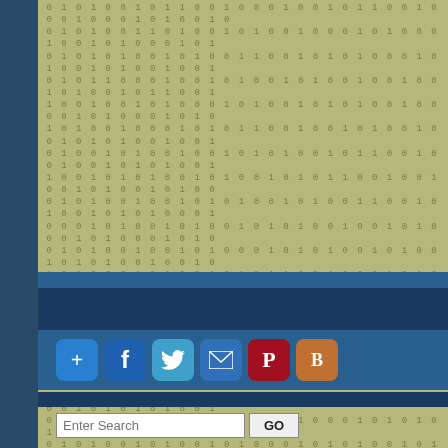[Figure (screenshot): Website sidebar with binary number background pattern in olive/green tones, social sharing buttons (plus, Facebook, Twitter, email, Pinterest, Blogger), a search input field with GO button, and archive links by month]
August 2022 (172)
July 2022 (424)
June 2022 (492)
May 2022 (466)
April 2022 (475)